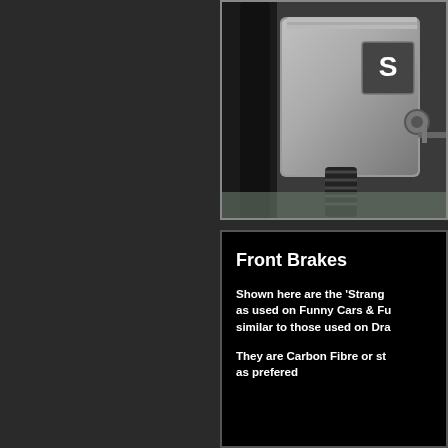[Figure (photo): Close-up photograph of drag racing front brake assembly/canister with 'S' logo (Strange Engineering), showing metal brake canister, hose, and mounting hardware against a dark background]
Front Brakes
Shown here are the 'Strang as used on Funny Cars & Fu similar to those used on Dra
They are Carbon Fibre or st as prefered